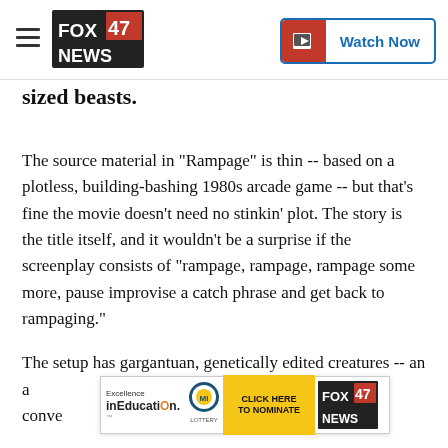FOX 47 NEWS — Watch Now
sized beasts.
The source material in "Rampage" is thin -- based on a plotless, building-bashing 1980s arcade game -- but that's fine the movie doesn't need no stinkin' plot. The story is the title itself, and it wouldn't be a surprise if the screenplay consists of "rampage, rampage, rampage some more, pause improvise a catch phrase and get back to rampaging."
The setup has gargantuan, genetically edited creatures -- an a... -  conve... only
[Figure (screenshot): Advertisement banner: Excellence in Education with lottery logo, CLICK HERE TO NOMINATE button, and FOX 47 NEWS logo]